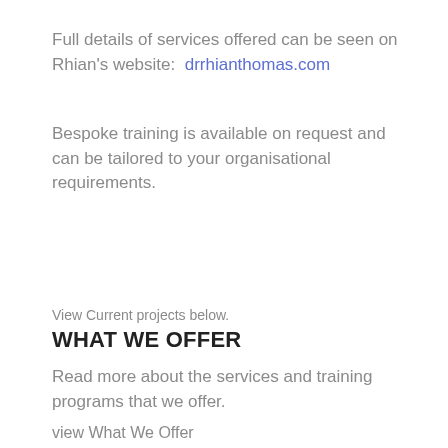Full details of services offered can be seen on Rhian's website:  drrhianthomas.com
Bespoke training is available on request and can be tailored to your organisational requirements.
View Current projects below.
WHAT WE OFFER
Read more about the services and training programs that we offer.
view What We Offer